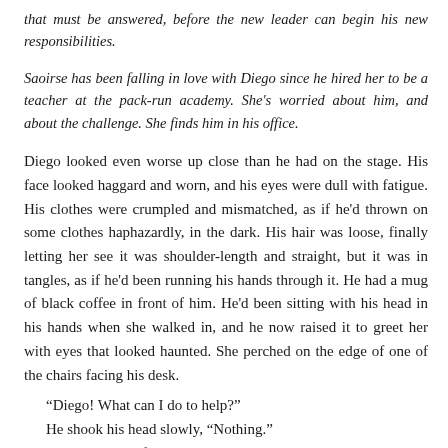that must be answered, before the new leader can begin his new responsibilities.
Saoirse has been falling in love with Diego since he hired her to be a teacher at the pack-run academy. She's worried about him, and about the challenge. She finds him in his office.
Diego looked even worse up close than he had on the stage. His face looked haggard and worn, and his eyes were dull with fatigue. His clothes were crumpled and mismatched, as if he'd thrown on some clothes haphazardly, in the dark. His hair was loose, finally letting her see it was shoulder-length and straight, but it was in tangles, as if he'd been running his hands through it. He had a mug of black coffee in front of him. He'd been sitting with his head in his hands when she walked in, and he now raised it to greet her with eyes that looked haunted. She perched on the edge of one of the chairs facing his desk.
"Diego! What can I do to help?"
He shook his head slowly, "Nothing."
"Would it help if I just listen while you talk?"